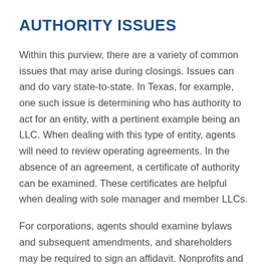AUTHORITY ISSUES
Within this purview, there are a variety of common issues that may arise during closings. Issues can and do vary state-to-state. In Texas, for example, one such issue is determining who has authority to act for an entity, with a pertinent example being an LLC. When dealing with this type of entity, agents will need to review operating agreements. In the absence of an agreement, a certificate of authority can be examined. These certificates are helpful when dealing with sole manager and member LLCs.
For corporations, agents should examine bylaws and subsequent amendments, and shareholders may be required to sign an affidavit. Nonprofits and churches conduct business differently. But in each context, the agent only needs to be concerned about authority